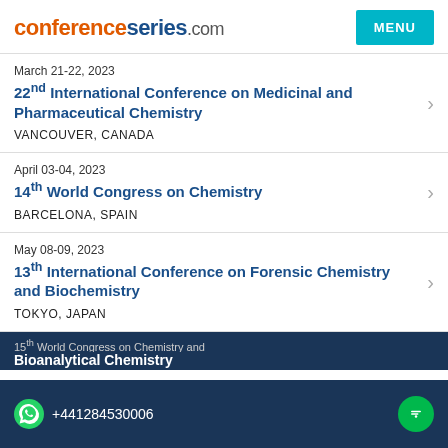conferenceseries.com
March 21-22, 2023
22nd International Conference on Medicinal and Pharmaceutical Chemistry
VANCOUVER, CANADA
April 03-04, 2023
14th World Congress on Chemistry
BARCELONA, SPAIN
May 08-09, 2023
13th International Conference on Forensic Chemistry and Biochemistry
TOKYO, JAPAN
+441284530006